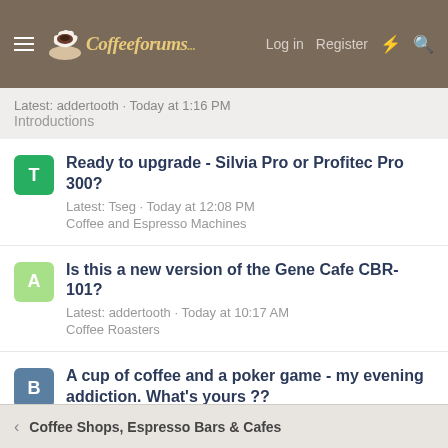CoffeeForums.com — Log in  Register
Latest: addertooth · Today at 1:16 PM
Introductions
Ready to upgrade - Silvia Pro or Profitec Pro 300?
Latest: Tseg · Today at 12:08 PM
Coffee and Espresso Machines
Is this a new version of the Gene Cafe CBR-101?
Latest: addertooth · Today at 10:17 AM
Coffee Roasters
A cup of coffee and a poker game - my evening addiction. What's yours ??
Latest: Billy Banana · Today at 8:55 AM
Off Topic
Coffee Shops, Espresso Bars & Cafes